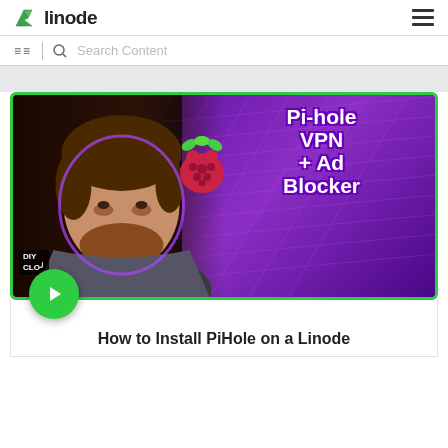linode
[Figure (screenshot): Linode website screenshot showing a video thumbnail for 'Pi-hole VPN + Ad Blocker' with a man facing the camera, a raspberry pi logo, purple background with grid, green border, and a green play button. Below is a white card with the article title 'How to Install PiHole on a Linode'.]
How to Install PiHole on a Linode